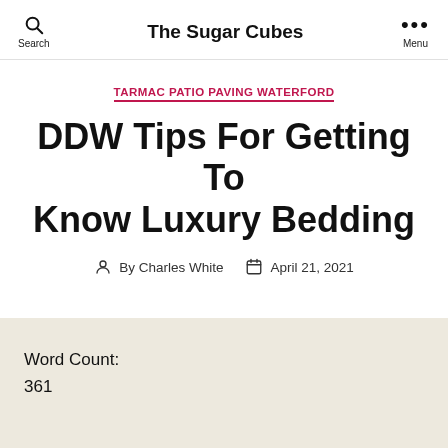The Sugar Cubes
TARMAC PATIO PAVING WATERFORD
DDW Tips For Getting To Know Luxury Bedding
By Charles White  April 21, 2021
Word Count:
361